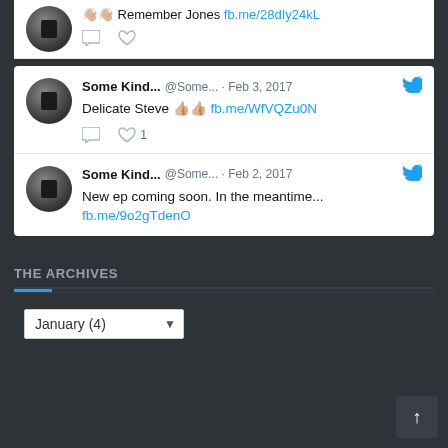Remember Jones fb.me/28dIy24kL
Some Kind... @Some... · Feb 3, 2017 — Delicate Steve 👍👍 fb.me/WfVQZu0N — ♡ 1
Some Kind... @Some... · Feb 2, 2017 — New ep coming soon. In the meantime... fb.me/9o2gTdenO
THE ARCHIVES
January (4)